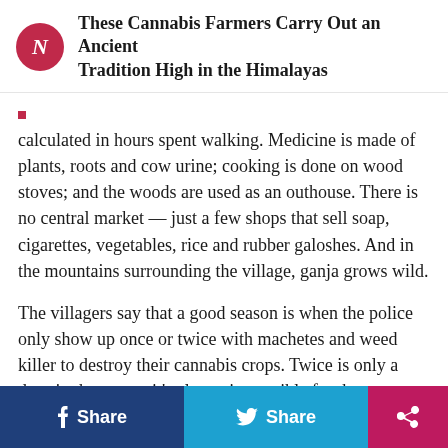These Cannabis Farmers Carry Out an Ancient Tradition High in the Himalayas
calculated in hours spent walking. Medicine is made of plants, roots and cow urine; cooking is done on wood stoves; and the woods are used as an outhouse. There is no central market — just a few shops that sell soap, cigarettes, vegetables, rice and rubber galoshes. And in the mountains surrounding the village, ganja grows wild.
The villagers say that a good season is when the police only show up once or twice with machetes and weed killer to destroy their cannabis crops. Twice is only a drop in the ocean: it's almost impossible for the authorities to counter the illegal farming that takes